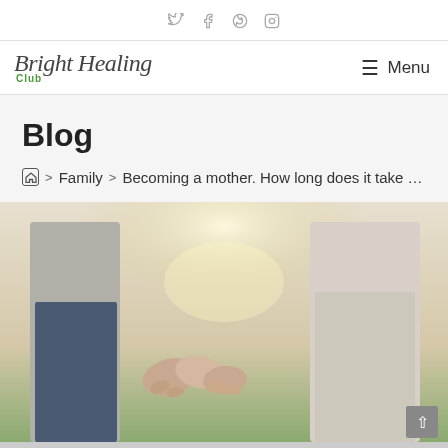Social icons: Twitter, Facebook, Pinterest, Instagram
[Figure (logo): Bright Healing Club logo in italic handwritten style font with green 'Club' text below]
☰ Menu
Blog
🏠 > Family > Becoming a mother. How long does it take to get pregr
[Figure (photo): A couple holding hands outdoors in a field, warm backlit sunlight, man in jeans and grey shirt, woman in floral dress]